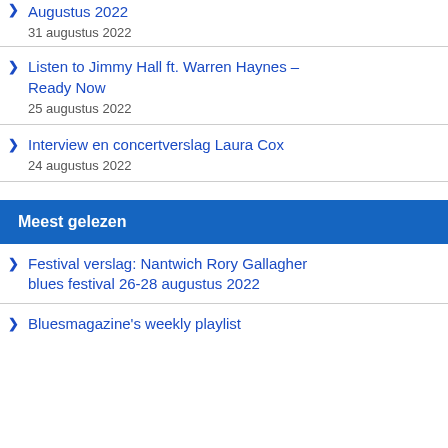Augustus 2022
31 augustus 2022
Listen to Jimmy Hall ft. Warren Haynes – Ready Now
25 augustus 2022
Interview en concertverslag Laura Cox
24 augustus 2022
Meest gelezen
Festival verslag: Nantwich Rory Gallagher blues festival 26-28 augustus 2022
Bluesmagazine's weekly playlist